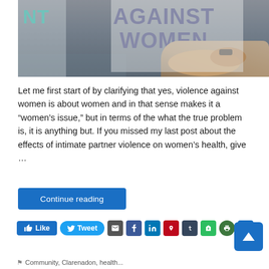[Figure (photo): Photo of person holding a sign reading 'AGAINST WOMEN', partially showing teal text 'NT' on a t-shirt on the left side.]
Let me first start of by clarifying that yes, violence against women is about women and in that sense makes it a “women’s issue,” but in terms of the what the true problem is, it is anything but. If you missed my last post about the effects of intimate partner violence on women’s health, give ...
Continue reading
Like  Tweet  (social share icons: email, Facebook, LinkedIn, Pinterest, Tumblr, Evernote, print, more)
Community, Clarenadon, health...